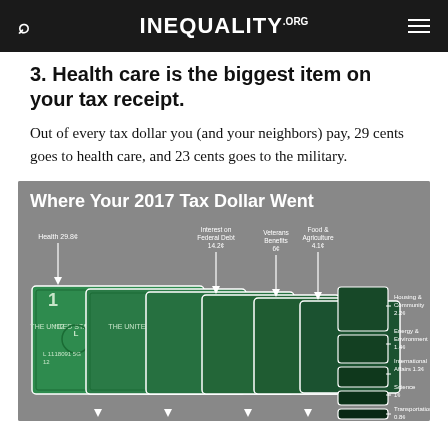INEQUALITY.ORG
3. Health care is the biggest item on your tax receipt.
Out of every tax dollar you (and your neighbors) pay, 29 cents goes to health care, and 23 cents goes to the military.
[Figure (infographic): Infographic titled 'Where Your 2017 Tax Dollar Went' showing overlapping US dollar bills representing different budget categories. Labels visible: Health 29.8¢, Interest on Federal Debt 14.2¢, Veterans Benefits 6¢, Food & Agriculture 4.1¢, Housing & Community 2.2¢, Energy & Environment 1.4¢, International Affairs 1.3¢, Science 1¢, Transportation 0.8¢]